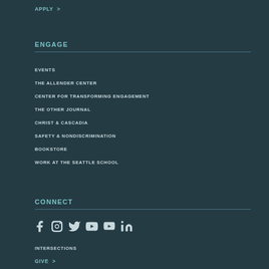APPLY >
ENGAGE
EVENTS
THE ALLENDER CENTER
CENTER FOR TRANSFORMING ENGAGEMENT
THE OTHER JOURNAL
CHRIST & CASCADIA
SAFETY & NONDISCRIMINATION
BOOKSTORE
WORK AT THE SEATTLE SCHOOL
CONNECT
[Figure (other): Social media icons: Facebook, Instagram, Twitter, YouTube, Vimeo, LinkedIn]
INTERSECTIONS
GIVE >